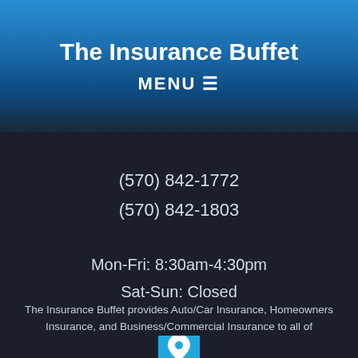The Insurance Buffet
MENU ≡
(570) 842-1772
(570) 842-1803
Mon-Fri: 8:30am-4:30pm
Sat-Sun: Closed
[Figure (illustration): Blue map location pin icon on a blue square background]
The Insurance Buffet provides Auto/Car Insurance, Homeowners Insurance, and Business/Commercial Insurance to all of